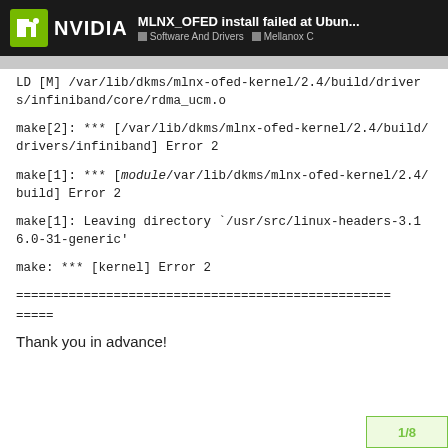MLNX_OFED install failed at Ubun... | Software And Drivers | Mellanox C
LD [M] /var/lib/dkms/mlnx-ofed-kernel/2.4/build/drivers/infiniband/core/rdma_ucm.o
make[2]: *** [/var/lib/dkms/mlnx-ofed-kernel/2.4/build/drivers/infiniband] Error 2
make[1]: *** [module/var/lib/dkms/mlnx-ofed-kernel/2.4/build] Error 2
make[1]: Leaving directory `/usr/src/linux-headers-3.16.0-31-generic'
make: *** [kernel] Error 2
==================================================
=====
Thank you in advance!